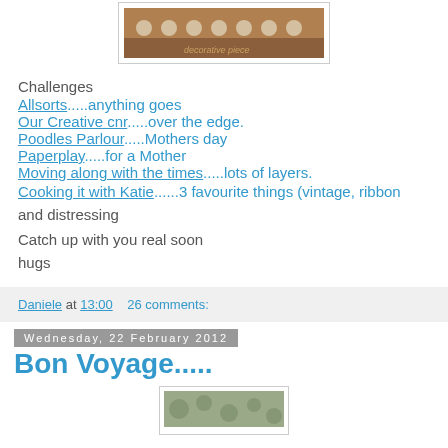[Figure (photo): Cropped photo of a decorative item with beads/pearls on a brownish background]
Challenges
Allsorts.....anything goes
Our Creative cnr.....over the edge.
Poodles Parlour.....Mothers day
Paperplay.....for a Mother
Moving along with the times.....lots of layers.
Cooking it with Katie......3 favourite things (vintage, ribbon and distressing
Catch up with you real soon
hugs
Daniele at 13:00   26 comments:
Wednesday, 22 February 2012
Bon Voyage.....
[Figure (photo): Partial image of a card or craft project at the bottom of the page]